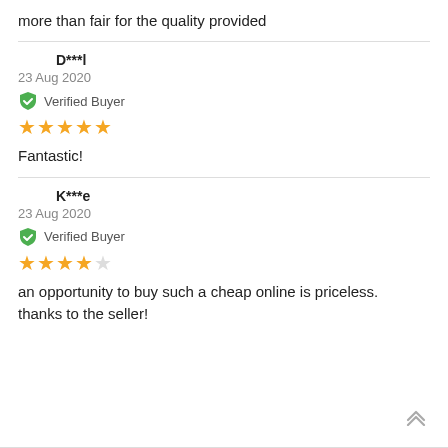more than fair for the quality provided
D***l
23 Aug 2020
Verified Buyer
★★★★★
Fantastic!
K***e
23 Aug 2020
Verified Buyer
★★★★☆
an opportunity to buy such a cheap online is priceless. thanks to the seller!